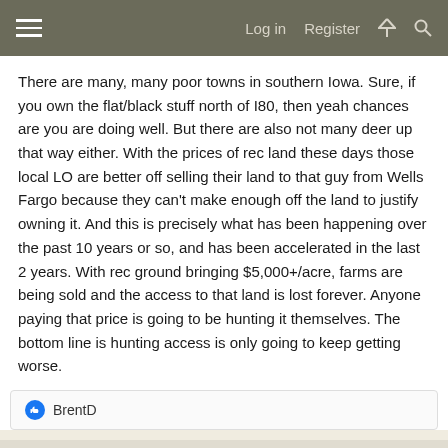Log in   Register
There are many, many poor towns in southern Iowa. Sure, if you own the flat/black stuff north of I80, then yeah chances are you are doing well. But there are also not many deer up that way either. With the prices of rec land these days those local LO are better off selling their land to that guy from Wells Fargo because they can't make enough off the land to justify owning it. And this is precisely what has been happening over the past 10 years or so, and has been accelerated in the last 2 years. With rec ground bringing $5,000+/acre, farms are being sold and the access to that land is lost forever. Anyone paying that price is going to be hunting it themselves. The bottom line is hunting access is only going to keep getting worse.
BrentD
Apr 6, 2022   #52
Gellar
Well-known member